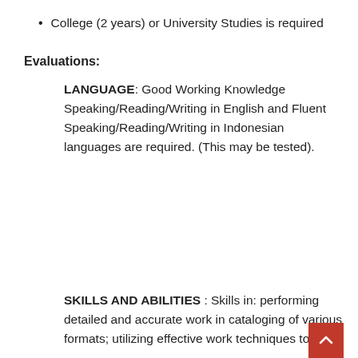College (2 years) or University Studies is required
Evaluations:
LANGUAGE: Good Working Knowledge Speaking/Reading/Writing in English and Fluent Speaking/Reading/Writing in Indonesian languages are required. (This may be tested).
SKILLS AND ABILITIES : Skills in: performing detailed and accurate work in cataloging of various formats; utilizing effective work techniques to use